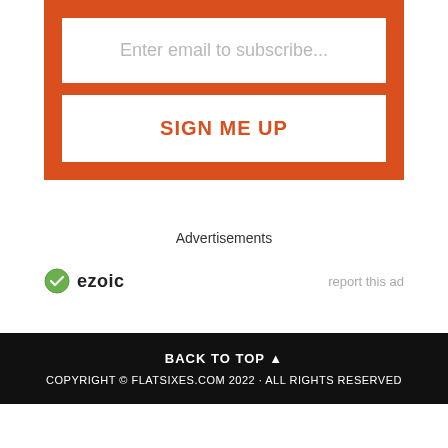[Figure (other): Email subscription form with orange background containing an email input field placeholder 'Enter email to subscribe...' and a 'SIGN ME UP' button in orange text on white background]
Advertisements
[Figure (logo): Ezoic logo with green circle checkmark icon and 'ezoic' text in dark, with 'report this ad' link on the right]
BACK TO TOP ▲ COPYRIGHT © FLATSIXES.COM 2022 · ALL RIGHTS RESERVED